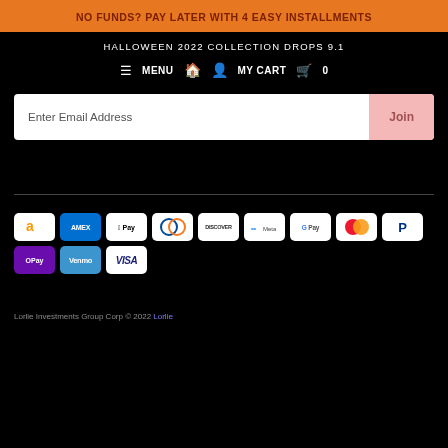NO FUNDS? PAY LATER WITH 4 EASY INSTALLMENTS
HALLOWEEN 2022 COLLECTION DROPS 9.1
≡ MENU  🏠  👤  MY CART 🛒 0
Enter Email Address   Join
[Figure (other): Payment method logos: Amazon, Amex, Apple Pay, Diners Club, Discover, Meta, Google Pay, Mastercard, PayPal, OPay, Venmo, Visa]
Lorlie Investments Group Corp © 2022 Lorlie